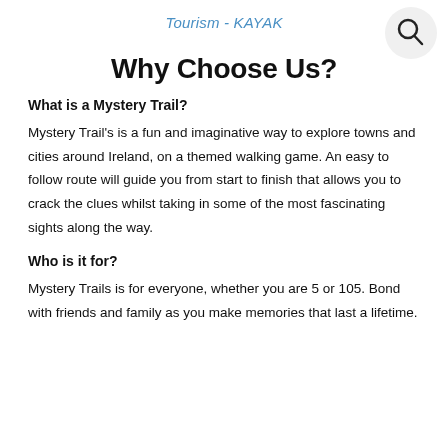Tourism - KAYAK
[Figure (other): Search icon circle button in top right corner]
Why Choose Us?
What is a Mystery Trail?
Mystery Trail's is a fun and imaginative way to explore towns and cities around Ireland, on a themed walking game. An easy to follow route will guide you from start to finish that allows you to crack the clues whilst taking in some of the most fascinating sights along the way.
Who is it for?
Mystery Trails is for everyone, whether you are 5 or 105. Bond with friends and family as you make memories that last a lifetime.